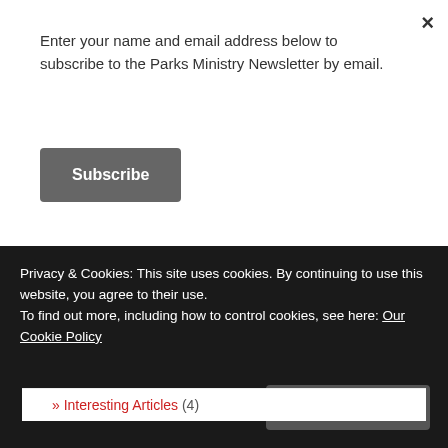×
Enter your name and email address below to subscribe to the Parks Ministry Newsletter by email.
Subscribe
This site uses Akismet to reduce spam. Learn how your comment data is processed.
VIEW POSTS BY CATEGORY
» CHE (9)
» Music (2)
» Interesting Articles (4)
Privacy & Cookies: This site uses cookies. By continuing to use this website, you agree to their use.
To find out more, including how to control cookies, see here: Our Cookie Policy
Close and accept